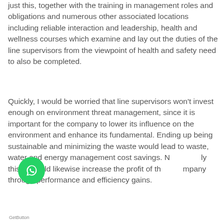just this, together with the training in management roles and obligations and numerous other associated locations including reliable interaction and leadership, health and wellness courses which examine and lay out the duties of the line supervisors from the viewpoint of health and safety need to also be completed.
Quickly, I would be worried that line supervisors won't invest enough on environment threat management, since it is important for the company to lower its influence on the environment and enhance its fundamental. Ending up being sustainable and minimizing the waste would lead to waste, water and energy management cost savings. Not only this, it would likewise increase the profit of the company through performance and efficiency gains.
[Figure (other): WhatsApp chat button (green circular icon) with GetButton.io label]